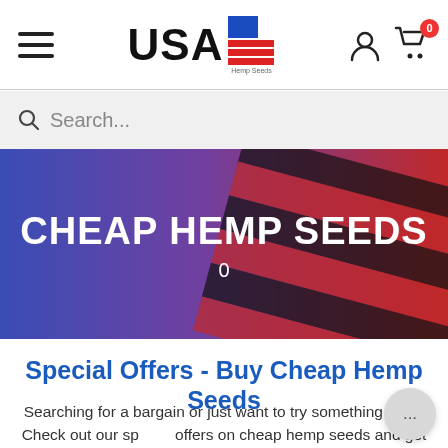USA Hemp Seeds navigation bar with hamburger menu, logo, user and cart icons
[Figure (screenshot): Search bar with magnifying glass icon and placeholder text 'Search...']
[Figure (photo): Hero banner with American flag background (blue and red/striped) with text 'CHEAP HEMP SEEDS' and count '0' overlaid]
Special Offers - Buy Cheap Hemp Seeds
Searching for a bargain or just want to try something new? Check out our special offers on cheap hemp seeds and get more for your money by spending less.